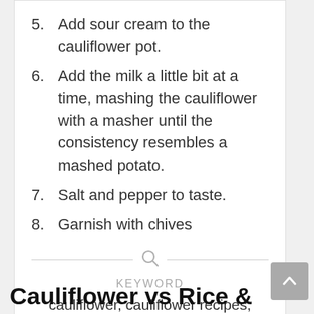5. Add sour cream to the cauliflower pot.
6. Add the milk a little bit at a time, mashing the cauliflower with a masher until the consistency resembles a mashed potato.
7. Salt and pepper to taste.
8. Garnish with chives
KEYWORD
cauliflower, cauliflower recipes, garlic, mashed potatoes
Cauliflower vs Rice &